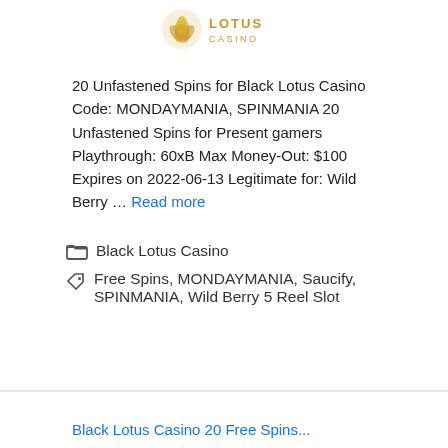[Figure (logo): Black Lotus Casino logo — golden lotus flower icon with text 'LOTUS CASINO' in gold]
20 Unfastened Spins for Black Lotus Casino Code: MONDAYMANIA, SPINMANIA 20 Unfastened Spins for Present gamers Playthrough: 60xB Max Money-Out: $100 Expires on 2022-06-13 Legitimate for: Wild Berry … Read more
Black Lotus Casino
Free Spins, MONDAYMANIA, Saucify, SPINMANIA, Wild Berry 5 Reel Slot
Black Lotus Casino 20 Free Spins...